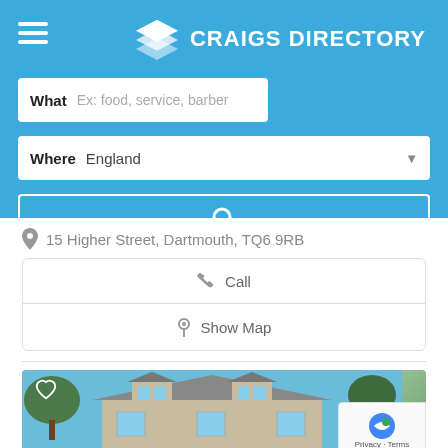CRAIGS DIRECTORY
What  Ex: food, service, barber
Where  England
Search
15 Higher Street, Dartmouth, TQ6 9RB
Call
Show Map
[Figure (photo): Exterior photo of a stone building with grey slate roof and dormer windows, with trees visible in background]